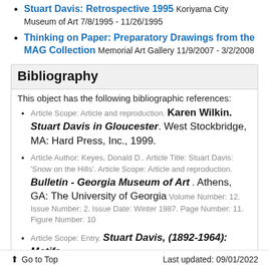Stuart Davis: Retrospective 1995 Koriyama City Museum of Art 7/8/1995 - 11/26/1995
Thinking on Paper: Preparatory Drawings from the MAG Collection Memorial Art Gallery 11/9/2007 - 3/2/2008
Bibliography
This object has the following bibliographic references:
Article Scope: Article and reproduction. Karen Wilkin. Stuart Davis in Gloucester. West Stockbridge, MA: Hard Press, Inc., 1999.
Article Author: Keyes, Donald D.. Article Title: Stuart Davis: 'Snow on the Hills'. Article Scope: Article and reproduction. Bulletin - Georgia Museum of Art . Athens, GA: The University of Georgia Volume Number: 12. Issue Number: 2. Issue Date: Winter 1987. Page Number: 11. Figure Number: 10
Article Scope: Entry. Stuart Davis, (1892-1964): Motifs
Go to Top    Last updated: 09/01/2022